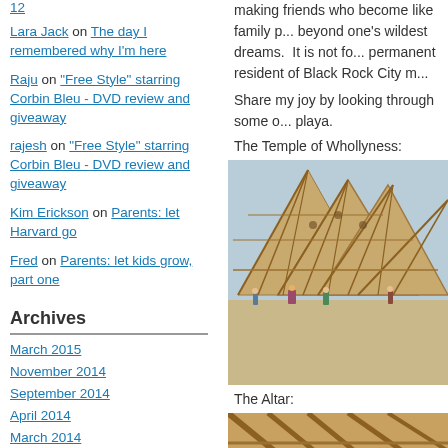Lara Jack on The day I remembered why I'm here
Raju on "Free Style" starring Corbin Bleu - DVD review and giveaway
rajesh on "Free Style" starring Corbin Bleu - DVD review and giveaway
Kim Erickson on Parents: let Harvard go
Fred on Parents: let kids grow, part one
Archives
March 2015
November 2014
September 2014
April 2014
March 2014
February 2014
January 2014
October 2013
making friends who become like family p... beyond one's wildest dreams. It is not fo... permanent resident of Black Rock City m...
Share my joy by looking through some o... playa.
The Temple of Whollyness:
[Figure (photo): Exterior view of the Temple of Whollyness at Burning Man, a large wooden triangular frame structure with people standing in front on a sandy playa.]
The Altar:
[Figure (photo): Interior view of the Temple of Whollyness showing wooden ceiling beams and glowing orb lights.]